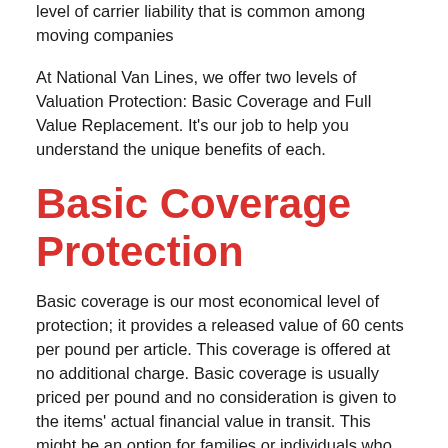level of carrier liability that is common among moving companies
At National Van Lines, we offer two levels of Valuation Protection: Basic Coverage and Full Value Replacement. It's our job to help you understand the unique benefits of each.
Basic Coverage Protection
Basic coverage is our most economical level of protection; it provides a released value of 60 cents per pound per article. This coverage is offered at no additional charge. Basic coverage is usually priced per pound and no consideration is given to the items' actual financial value in transit. This might be an option for families or individuals who don't have a large